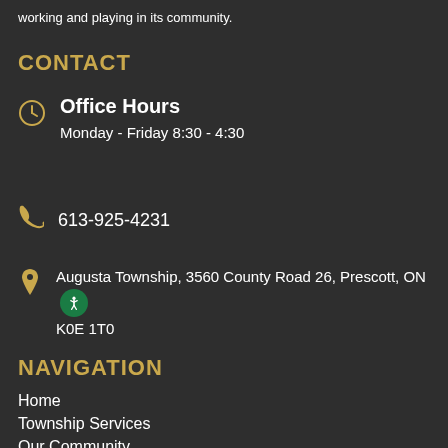working and playing in its community.
CONTACT
Office Hours
Monday - Friday 8:30 - 4:30
613-925-4231
Augusta Township, 3560 County Road 26, Prescott, ON K0E 1T0
NAVIGATION
Home
Township Services
Our Community